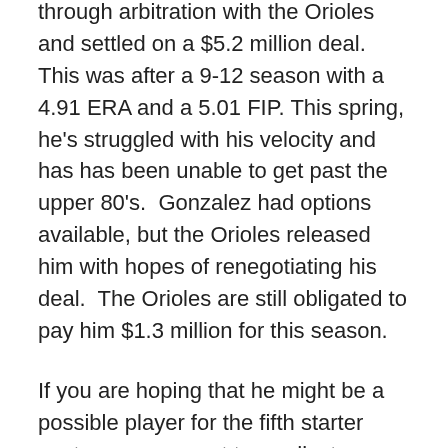through arbitration with the Orioles and settled on a $5.2 million deal. This was after a 9-12 season with a 4.91 ERA and a 5.01 FIP. This spring, he's struggled with his velocity and has has been unable to get past the upper 80's.  Gonzalez had options available, but the Orioles released him with hopes of renegotiating his deal.  The Orioles are still obligated to pay him $1.3 million for this season.
If you are hoping that he might be a possible player for the fifth starter spot, you may want to readjust your expectations a bit. While he's been able to put together a 3.82 ERA over the past four seasons, his career FIP is 4.70.
Giving up the long ball has been his biggest concern over the past few seasons. With an HR/9 of 1.42 in 2014 and 1.49 in 2015, he's well beyond just being